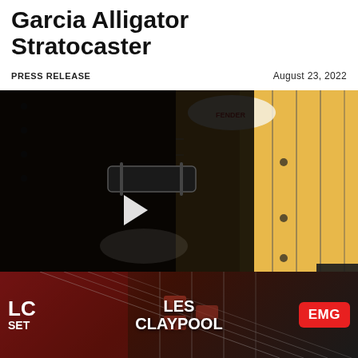Garcia Alligator Stratocaster
PRESS RELEASE    August 23, 2022
[Figure (photo): Close-up photo of a Fender Stratocaster guitar with a Fender sticker, overlaid with a dark video player showing a guitar pickup and a play button triangle in the center.]
The po... and is faithfu... ner bar, ci... LES CLAYPOOL / EMG advertisement overlay